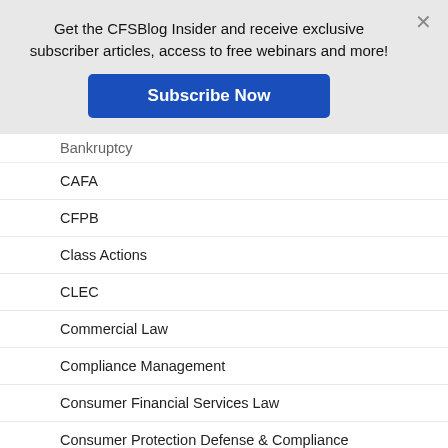Get the CFSBlog Insider and receive exclusive subscriber articles, access to free webinars and more!
Subscribe Now
Bankruptcy
CAFA
CFPB
Class Actions
CLEC
Commercial Law
Compliance Management
Consumer Financial Services Law
Consumer Protection Defense & Compliance
Data Privacy and Security
Debt Collection